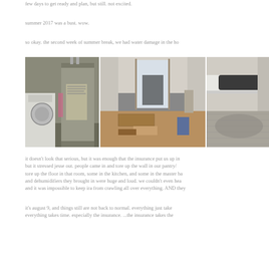few days to get ready and plan, but still. not excited.
summer 2017 was a bust.  wow.
so okay.  the second week of summer break, we had water damage in the ho
[Figure (photo): Three photos showing water damage in a home: left photo shows a water heater next to a washer/dryer in a utility area, middle photo shows damaged/warped flooring in a hallway, right photo shows wet carpet near a bathtub.]
it doesn't look that serious, but it was enough that the insurance put us up in
but it stressed jesse out.  people came in and tore up the wall in our pantry/
tore up the floor in that room, some in the kitchen, and some in the master ba
and dehumidifiers they brought in were huge and loud.  we couldn't even hea
and it was impossible to keep ira from crawling all over everything.  AND they
it's august 9, and things still are not back to normal.  everything just take
everything takes time.  especially the insurance.  ...the insurance takes the